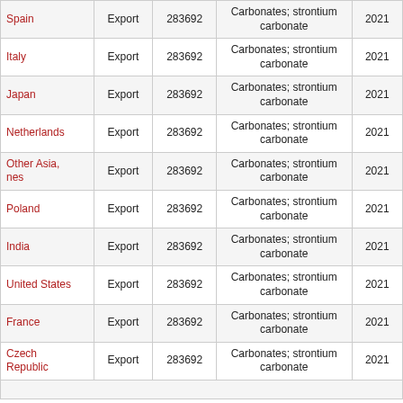| Country | Type | Code | Description | Year |
| --- | --- | --- | --- | --- |
| Spain | Export | 283692 | Carbonates; strontium carbonate | 2021 |
| Italy | Export | 283692 | Carbonates; strontium carbonate | 2021 |
| Japan | Export | 283692 | Carbonates; strontium carbonate | 2021 |
| Netherlands | Export | 283692 | Carbonates; strontium carbonate | 2021 |
| Other Asia, nes | Export | 283692 | Carbonates; strontium carbonate | 2021 |
| Poland | Export | 283692 | Carbonates; strontium carbonate | 2021 |
| India | Export | 283692 | Carbonates; strontium carbonate | 2021 |
| United States | Export | 283692 | Carbonates; strontium carbonate | 2021 |
| France | Export | 283692 | Carbonates; strontium carbonate | 2021 |
| Czech Republic | Export | 283692 | Carbonates; strontium carbonate | 2021 |
HS Nomenclature used HS 1988/92 (H0)
HS Code 283692: Carbonates; strontium carbonate
Please note : Exports is gross exports and Imports is gross imports